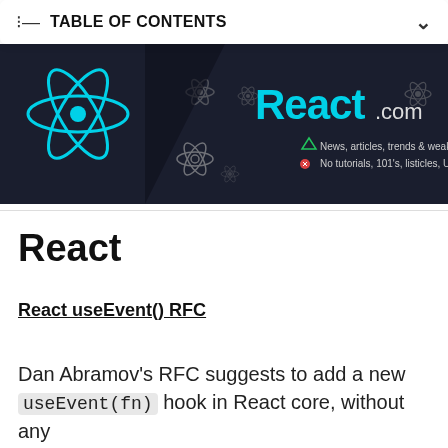TABLE OF CONTENTS
[Figure (screenshot): React.com banner with cyan React logo and atom icons on dark background, text reads 'React.com — News, articles, trends & weak signals / No tutorials, 101's, listicles, UI libs...']
React
React useEvent() RFC
Dan Abramov's RFC suggests to add a new useEvent(fn) hook in React core, without any